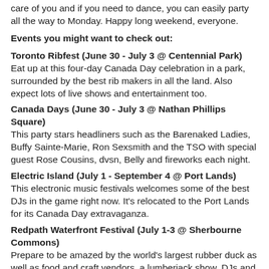care of you and if you need to dance, you can easily party all the way to Monday. Happy long weekend, everyone.
Events you might want to check out:
Toronto Ribfest (June 30 - July 3 @ Centennial Park)
Eat up at this four-day Canada Day celebration in a park, surrounded by the best rib makers in all the land. Also expect lots of live shows and entertainment too.
Canada Days (June 30 - July 3 @ Nathan Phillips Square)
This party stars headliners such as the Barenaked Ladies, Buffy Sainte-Marie, Ron Sexsmith and the TSO with special guest Rose Cousins, dvsn, Belly and fireworks each night.
Electric Island (July 1 - September 4 @ Port Lands)
This electronic music festivals welcomes some of the best DJs in the game right now. It's relocated to the Port Lands for its Canada Day extravaganza.
Redpath Waterfront Festival (July 1-3 @ Sherbourne Commons)
Prepare to be amazed by the world's largest rubber duck as well as food and craft vendors, a lumberjack show, DJs and stages with live entertainment.